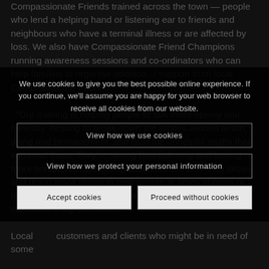Compassionate Friends trained across the town — people who lend a helping hand or listening ear to friends and neighbours who have a terminal illness or are affected by loss. We also have Compassionate Friend Champions running awareness sessions and co-ordinators who can help families to organise addition...l support from local Compassionate Friends.
We use cookies to give you the best possible online experience. If you continue, we'll assume you are happy for your web browser to receive all cookies from our website.
View how we use cookies
View how we protect your personal information
Accept cookies
Proceed without cookies
"Our training is helping people to talk more openly and honestly, helping to break down the taboos around death, dying and bereavement, and bust the unhelpful myths that surround them. They're seeing how listening and having more compassionate conversations within their own circles, and doing small things to help people at times of crisis or loss, such as making them a meal or doing their shopping, can make a big difference."
Local customers and clients who might be in need of some...